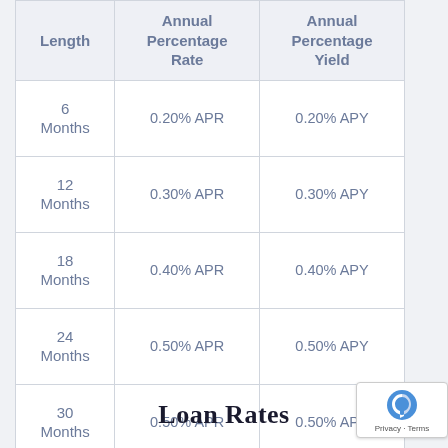| Length | Annual Percentage Rate | Annual Percentage Yield |
| --- | --- | --- |
| 6 Months | 0.20% APR | 0.20% APY |
| 12 Months | 0.30% APR | 0.30% APY |
| 18 Months | 0.40% APR | 0.40% APY |
| 24 Months | 0.50% APR | 0.50% APY |
| 30 Months | 0.50% APR | 0.50% APY |
Loan Rates